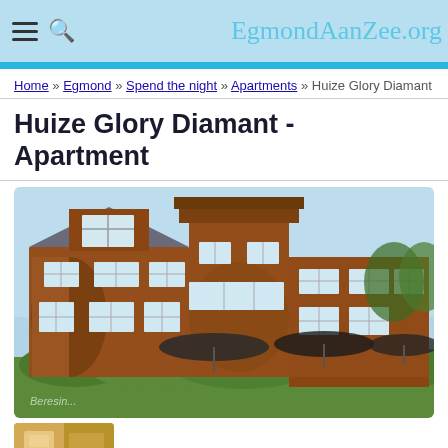EgmondAanZee.org
Home » Egmond » Spend the night » Apartments » Huize Glory Diamant
Huize Glory Diamant - Apartment
[Figure (photo): Exterior photo of Huize Glory Diamant, a large red brick building with a tall tower section, multiple white-framed windows, outdoor seating area with umbrellas, and surrounded by green shrubbery. Clear blue sky in background. Watermark 'Beresine' visible at bottom left.]
[Figure (photo): Thumbnail image showing interior view, warm golden/beige tones, partial view of a room.]